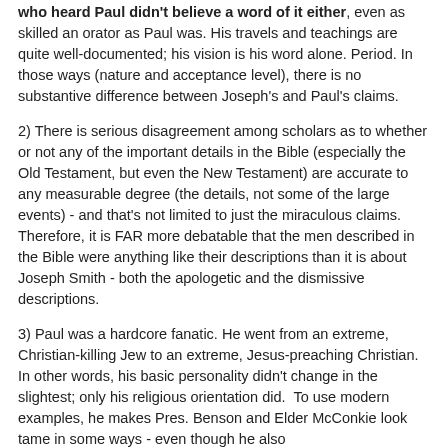who heard Paul didn't believe a word of it either, even as skilled an orator as Paul was. His travels and teachings are quite well-documented; his vision is his word alone. Period. In those ways (nature and acceptance level), there is no substantive difference between Joseph's and Paul's claims.
2) There is serious disagreement among scholars as to whether or not any of the important details in the Bible (especially the Old Testament, but even the New Testament) are accurate to any measurable degree (the details, not some of the large events) - and that's not limited to just the miraculous claims. Therefore, it is FAR more debatable that the men described in the Bible were anything like their descriptions than it is about Joseph Smith - both the apologetic and the dismissive descriptions.
3) Paul was a hardcore fanatic. He went from an extreme, Christian-killing Jew to an extreme, Jesus-preaching Christian. In other words, his basic personality didn't change in the slightest; only his religious orientation did.  To use modern examples, he makes Pres. Benson and Elder McConkie look tame in some ways - even though he also